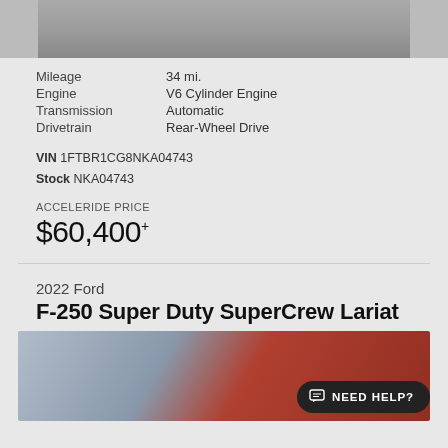[Figure (photo): Partial view of a vehicle in a gray/black and white photo, showing the lower front wheel area on a tiled surface.]
| Mileage | 34 mi. |
| Engine | V6 Cylinder Engine |
| Transmission | Automatic |
| Drivetrain | Rear-Wheel Drive |
VIN 1FTBR1CG8NKA04743
Stock NKA04743
ACCELERIDE PRICE
$60,400+
2022 Ford
F-250 Super Duty SuperCrew Lariat
[Figure (photo): Red Ford F-250 Super Duty truck photographed outdoors with cloudy sky background. A 'NEED HELP?' chat button is overlaid at the bottom right.]